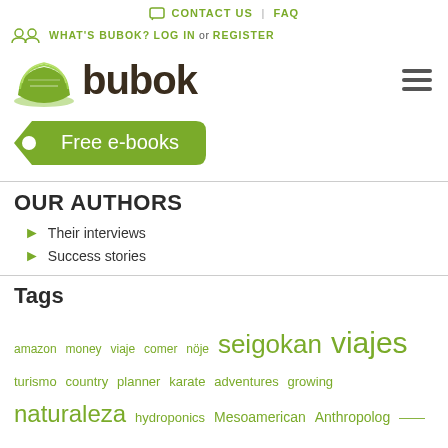CONTACT US | FAQ
WHAT'S BUBOK? LOG IN or REGISTER
[Figure (logo): Bubok logo with green stacked pages icon and bold 'bubok' text]
[Figure (infographic): Green price tag shape with white text 'Free e-books']
OUR AUTHORS
Their interviews
Success stories
Tags
amazon money viaje comer nöje seigokan viajes turismo country planner karate adventures growing naturaleza hydroponics Mesoamerican Anthropolog